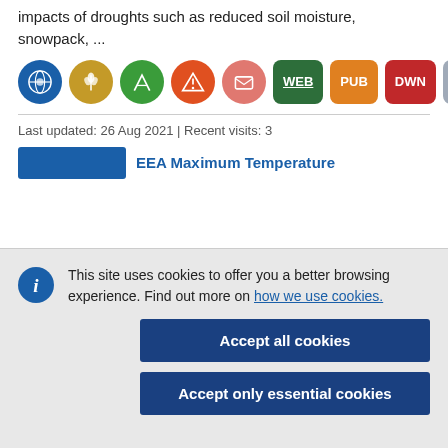impacts of droughts such as reduced soil moisture, snowpack, ...
[Figure (infographic): Row of circular colored icons representing data categories and label buttons for WEB, PUB, DWN, GEO]
Last updated: 26 Aug 2021 | Recent visits: 3
EEA Maximum Temperature [partially visible]
This site uses cookies to offer you a better browsing experience. Find out more on how we use cookies.
Accept all cookies
Accept only essential cookies